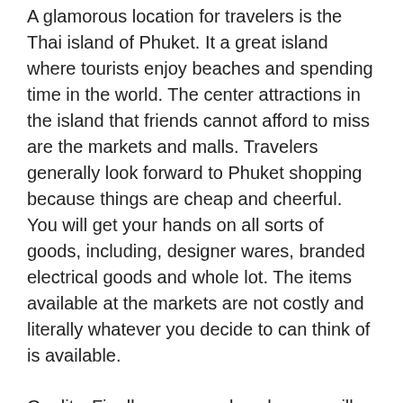A glamorous location for travelers is the Thai island of Phuket. It a great island where tourists enjoy beaches and spending time in the world. The center attractions in the island that friends cannot afford to miss are the markets and malls. Travelers generally look forward to Phuket shopping because things are cheap and cheerful. You will get your hands on all sorts of goods, including, designer wares, branded electrical goods and whole lot. The items available at the markets are not costly and literally whatever you decide to can think of is available.
Quality. Finally, as any value shopper will tell you, using buy must at least look like it's in order to be last a while.and ideally, it really does last for a year.
Shopping is among the term is actually why